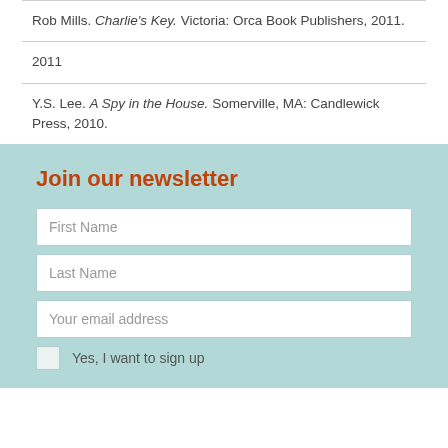| Rob Mills. Charlie's Key. Victoria: Orca Book Publishers, 2011. |
| 2011 |
| Y.S. Lee. A Spy in the House. Somerville, MA: Candlewick Press, 2010. |
Join our newsletter
First Name
Last Name
Your email address
Yes, I want to sign up